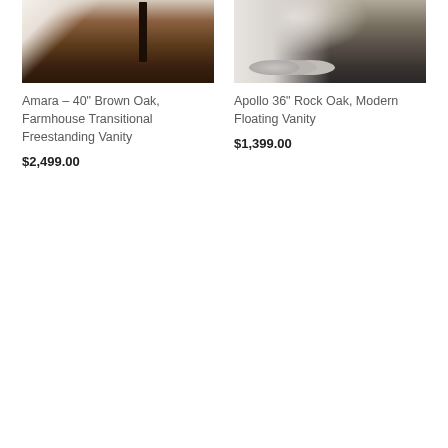[Figure (photo): Photo of Amara 40-inch Brown Oak Farmhouse Transitional Freestanding Vanity showing dark brown wood cabinet with black handles and white countertop]
Amara – 40" Brown Oak, Farmhouse Transitional Freestanding Vanity
$2,499.00
[Figure (photo): Photo of Apollo 36-inch Rock Oak Modern Floating Vanity showing modern bathroom vanity with floating design, dark floor tiles, and white shower curtain]
Apollo 36" Rock Oak, Modern Floating Vanity
$1,399.00